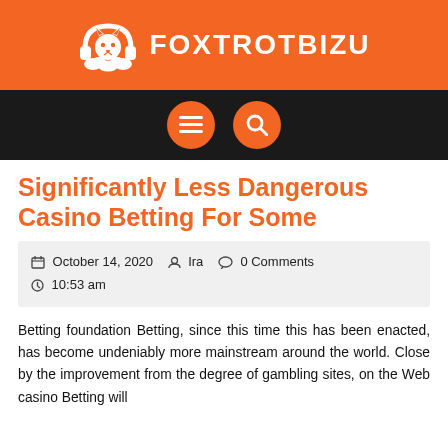FOXTROTBIZU
[Figure (logo): Foxtrotbizu website header with orange background, fox/headphone logo icon and white bold text FOXTROTBIZU]
[Figure (other): Dark navigation bar with two orange circular buttons: hamburger menu icon and search/magnifying glass icon]
Significantly Less Dangerous Casino Betting For Some
October 14, 2020   Ira   0 Comments   10:53 am
Betting foundation Betting, since this time this has been enacted, has become undeniably more mainstream around the world. Close by the improvement from the degree of gambling sites, on the Web casino Betting will